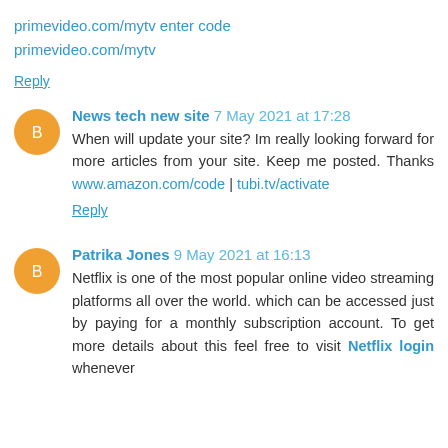primevideo.com/mytv enter code
primevideo.com/mytv
Reply
News tech new site 7 May 2021 at 17:28
When will update your site? Im really looking forward for more articles from your site. Keep me posted. Thanks www.amazon.com/code | tubi.tv/activate
Reply
Patrika Jones 9 May 2021 at 16:13
Netflix is one of the most popular online video streaming platforms all over the world. which can be accessed just by paying for a monthly subscription account. To get more details about this feel free to visit Netflix login whenever